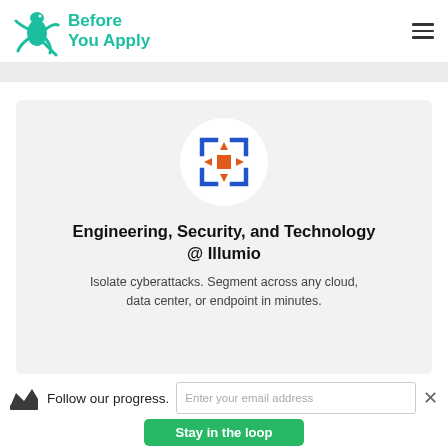Before You Apply
[Figure (logo): Illumio logo: blue bracket square with orange cross/arrows inside, on white circle background]
Engineering, Security, and Technology @ Illumio
Isolate cyberattacks. Segment across any cloud, data center, or endpoint in minutes.
Follow our progress.
Enter your email address
Stay in the loop